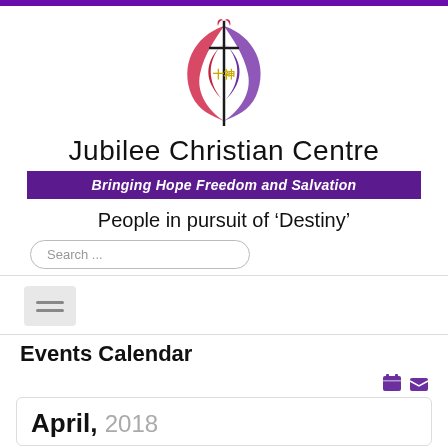[Figure (logo): Jubilee Christian Centre logo: stylized flame/tulip shape in red and purple with a cross and gold Chinese characters in the center]
Jubilee Christian Centre
Bringing Hope Freedom and Salvation
People in pursuit of ‘Destiny’
Search ...
Events Calendar
April, 2018